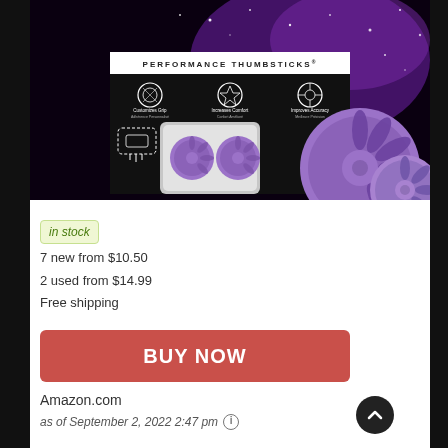[Figure (photo): Product photo of purple performance thumbsticks for gaming controllers. Shows packaging with 'PERFORMANCE THUMBSTICKS' branding on black background with stars, featuring icons for Customizes Grip, Increases Comfort, Improves Accuracy. Two purple thumbstick caps visible in clear packaging tray, and two purple thumbstick caps shown outside packaging.]
in stock
7 new from $10.50
2 used from $14.99
Free shipping
BUY NOW
Amazon.com
as of September 2, 2022 2:47 pm ℹ